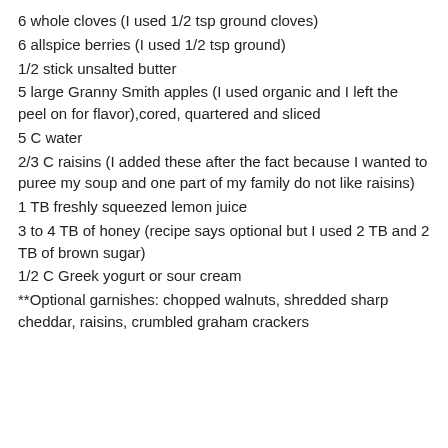6 whole cloves (I used 1/2 tsp ground cloves)
6 allspice berries (I used 1/2 tsp ground)
1/2 stick unsalted butter
5 large Granny Smith apples (I used organic and I left the peel on for flavor),cored, quartered and sliced
5 C water
2/3 C raisins (I added these after the fact because I wanted to puree my soup and one part of my family do not like raisins)
1 TB freshly squeezed lemon juice
3 to 4 TB of honey (recipe says optional but I used 2 TB and 2 TB of brown sugar)
1/2 C Greek yogurt or sour cream
**Optional garnishes: chopped walnuts, shredded sharp cheddar, raisins, crumbled graham crackers